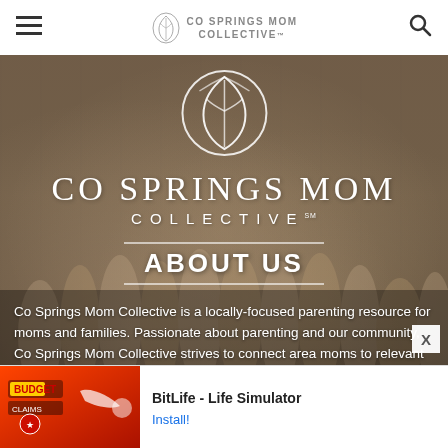CO SPRINGS MOM COLLECTIVE
[Figure (photo): Hero section with group photo of women/moms overlaid with CO Springs Mom Collective logo (flower icon, brand name in serif font, COLLECTIVE in spaced caps) and ABOUT US heading]
Co Springs Mom Collective is a locally-focused parenting resource for moms and families. Passionate about parenting and our community, Co Springs Mom Collective strives to connect area moms to relevant resources, local businesses
[Figure (screenshot): Advertisement banner: BitLife - Life Simulator app ad with red game screenshot and Install! button]